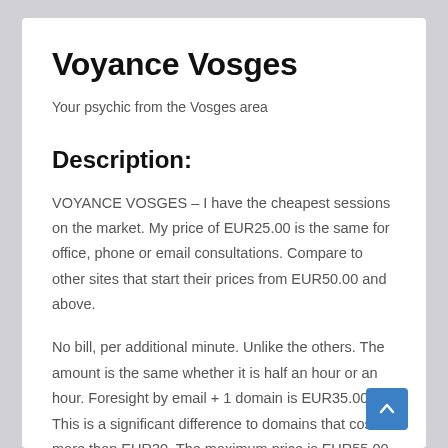Voyance Vosges
Your psychic from the Vosges area
Description:
VOYANCE VOSGES – I have the cheapest sessions on the market. My price of EUR25.00 is the same for office, phone or email consultations. Compare to other sites that start their prices from EUR50.00 and above.
No bill, per additional minute. Unlike the others. The amount is the same whether it is half an hour or an hour. Foresight by email + 1 domain is EUR35.00. This is a significant difference to domains that cost more than EUR30. The maximum price is EUR55.00, which